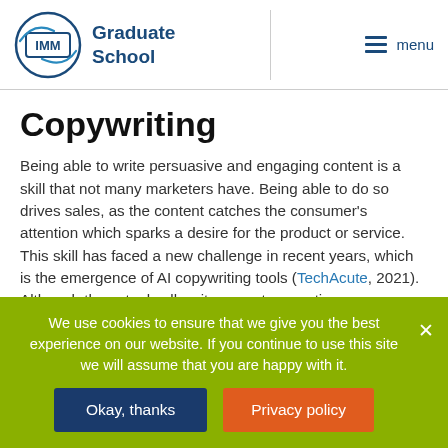IMM Graduate School
Copywriting
Being able to write persuasive and engaging content is a skill that not many marketers have. Being able to do so drives sales, as the content catches the consumer's attention which sparks a desire for the product or service. This skill has faced a new challenge in recent years, which is the emergence of AI copywriting tools (TechAcute, 2021). Although these tools allow its users to save time, personalise copy and create in bulk, they are not advanced enough to replace human
We use cookies to ensure that we give you the best experience on our website. If you continue to use this site we will assume that you are happy with it.